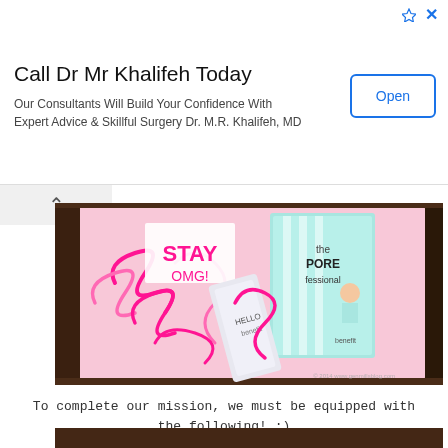[Figure (screenshot): Advertisement banner: 'Call Dr Mr Khalifeh Today' with Open button and ad icons]
[Figure (photo): Photo of an open pink gift box containing Benefit Cosmetics products including 'the POREfessional' primer and pink curly ribbon, with watermark '2014 www.genmillsblog.com']
To complete our mission, we must be equipped with the following! :)
Benefit Cosmetics has amply provided us with samples of their best-selling products to ensure our smooth-sailing spy mission. :)
[Figure (photo): Bottom strip of a photo, showing a dark brown wooden surface — partially cropped]